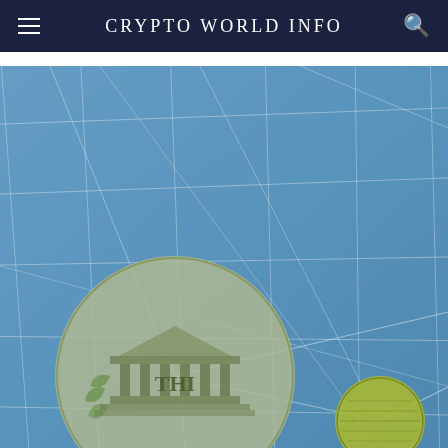CRYPTO WORLD INFO
[Figure (illustration): Stylized network/blockchain illustration on a blue grid background with interconnected nodes. Three circular nodes are visible: a large dark olive/green node in the upper right showing a portrait face (resembling currency engraving), a medium circle in the left-center showing a building with columns and 'THI' text (resembling a bank/institution motif from currency), and a small yellow-green circle in the lower right. White grid lines connect the nodes across a blue gradient background.]